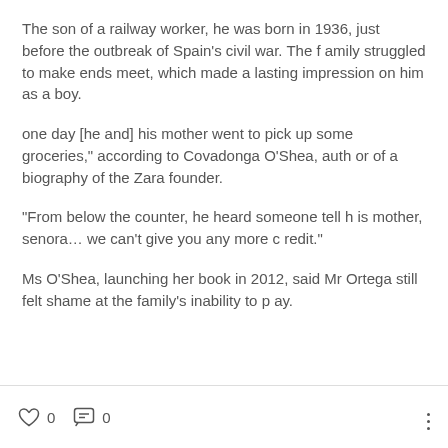The son of a railway worker, he was born in 1936, just before the outbreak of Spain's civil war. The family struggled to make ends meet, which made a lasting impression on him as a boy.
one day [he and] his mother went to pick up some groceries," according to Covadonga O'Shea, author of a biography of the Zara founder.
"From below the counter, he heard someone tell his mother, senora… we can't give you any more credit."
Ms O'Shea, launching her book in 2012, said Mr Ortega still felt shame at the family's inability to pay.
0  0